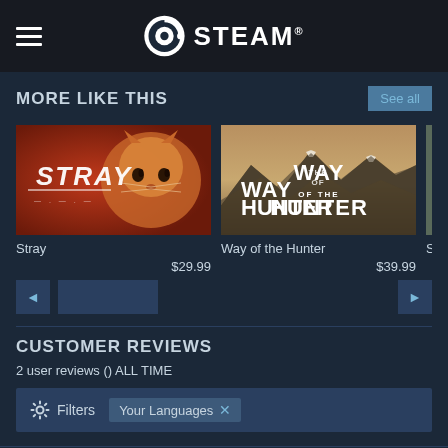STEAM
MORE LIKE THIS
[Figure (screenshot): Stray game thumbnail - orange cat on red background with STRAY logo]
Stray
$29.99
[Figure (screenshot): Way of the Hunter game thumbnail - mountains landscape with WAY OF THE HUNTER logo]
Way of the Hunter
$39.99
[Figure (screenshot): Partially visible game thumbnail - person with backpack]
Surro
CUSTOMER REVIEWS
2 user reviews () ALL TIME
Filters   Your Languages ✕
MOST HELPFUL REVIEWS OVERALL